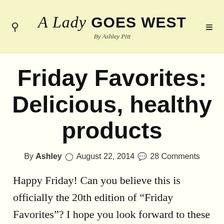A Lady Goes West By Ashley Pitt
Friday Favorites: Delicious, healthy products
By Ashley  ○ August 22, 2014  💬 28 Comments
Happy Friday! Can you believe this is officially the 20th edition of “Friday Favorites”? I hope you look forward to these informal and fun week-ending posts, because I enjoy putting them together